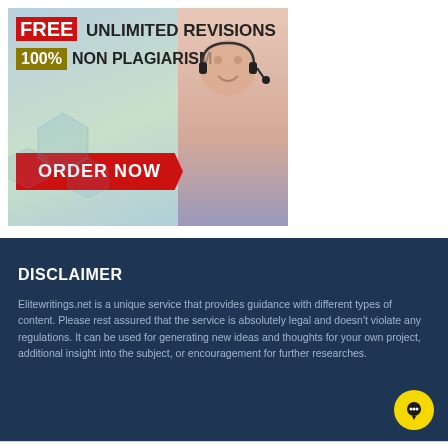[Figure (illustration): Advertisement banner for a writing service. Red badge with 'FREE', bold text 'UNLIMITED REVISIONS', yellow-brown badge '100%', bold text 'NON PLAGIARISM', red arrow button 'ORDER NOW', with a smiling woman wearing a headset on the right side.]
DISCLAIMER
Elitewritings.net is a unique service that provides guidance with different types of content. Please rest assured that the service is absolutely legal and doesn’t violate any regulations. It can be used for generating new ideas and thoughts for your own project, additional insight into the subject, or encouragement for further researches.